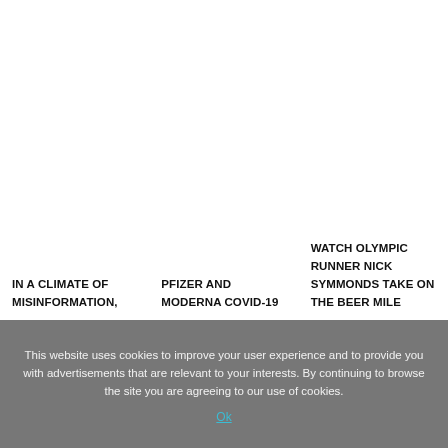IN A CLIMATE OF MISINFORMATION,
PFIZER AND MODERNA COVID-19
WATCH OLYMPIC RUNNER NICK SYMMONDS TAKE ON THE BEER MILE
This website uses cookies to improve your user experience and to provide you with advertisements that are relevant to your interests. By continuing to browse the site you are agreeing to our use of cookies.
Ok